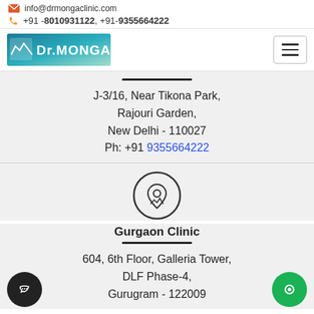info@drmongaclinic.com
+91 - 8010931122, +91- 9355664222
[Figure (logo): Dr. Mongas clinic logo with teal/green gradient background]
J-3/16, Near Tikona Park, Rajouri Garden, New Delhi - 110027 Ph: +91 9355664222
[Figure (illustration): Location pin icon inside a circle]
Gurgaon Clinic
604, 6th Floor, Galleria Tower, DLF Phase-4, Gurugram - 122009